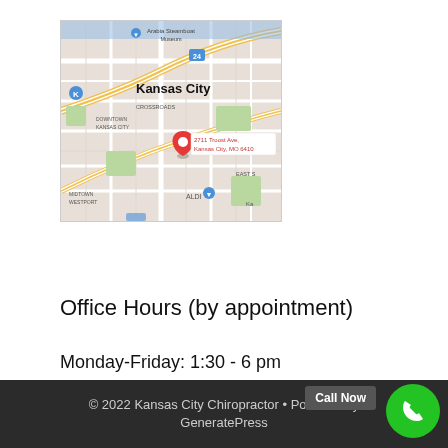[Figure (map): Google Maps screenshot showing Kansas City area with a red pin marker at 2711 Troost Ave, Kansas City, MO 64109. Landmarks visible include Arabia Steamboat Museum, Crossroads, Downtown Kansas City, Midtown Westport, ALDI, East Side area.]
Enlarge Map
Office Hours (by appointment)
Monday-Friday: 1:30 - 6 pm
Schedule Appointment Online
© 2022 Kansas City Chiropractor • Powered by GeneratePress